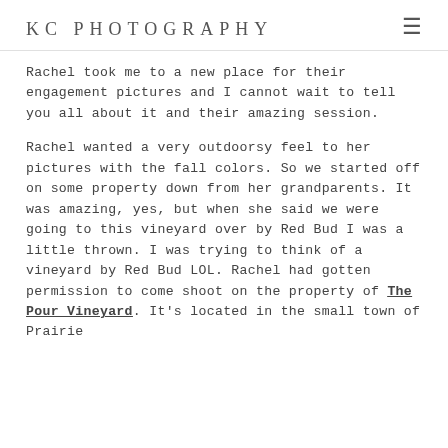KC PHOTOGRAPHY
Rachel took me to a new place for their engagement pictures and I cannot wait to tell you all about it and their amazing session.
Rachel wanted a very outdoorsy feel to her pictures with the fall colors. So we started off on some property down from her grandparents. It was amazing, yes, but when she said we were going to this vineyard over by Red Bud I was a little thrown. I was trying to think of a vineyard by Red Bud LOL. Rachel had gotten permission to come shoot on the property of The Pour Vineyard. It's located in the small town of Prairie